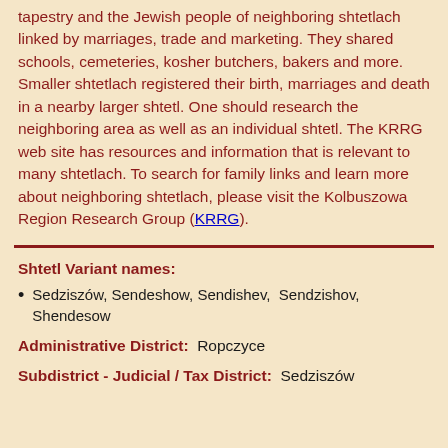tapestry and the Jewish people of neighboring shtetlach linked by marriages, trade and marketing. They shared schools, cemeteries, kosher butchers, bakers and more. Smaller shtetlach registered their birth, marriages and death in a nearby larger shtetl. One should research the neighboring area as well as an individual shtetl. The KRRG web site has resources and information that is relevant to many shtetlach. To search for family links and learn more about neighboring shtetlach, please visit the Kolbuszowa Region Research Group (KRRG).
Shtetl Variant names:
Sedziszów, Sendeshow, Sendishev, Sendzishov, Shendesow
Administrative District:  Ropczyce
Subdistrict - Judicial / Tax District:  Sedziszów